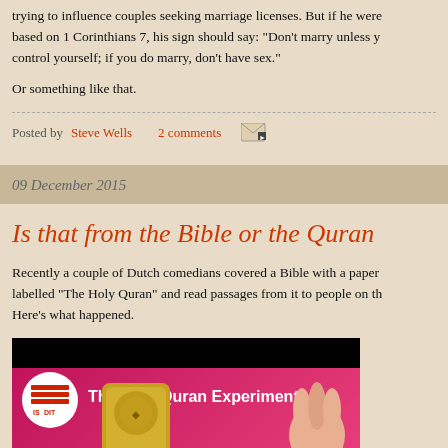trying to influence couples seeking marriage licenses. But if he were based on 1 Corinthians 7, his sign should say: "Don't marry unless y control yourself; if you do marry, don't have sex."
Or something like that.
Posted by Steve Wells   2 comments
09 December 2015
Is that from the Bible or the Quran
Recently a couple of Dutch comedians covered a Bible with a paper labelled "The Holy Quran" and read passages from it to people on th Here's what happened.
[Figure (screenshot): Video thumbnail for 'The Holy Quran Experiment' showing a logo circle on black background, title text on pink/magenta background, a golden book on the left, and a hand on the right.]